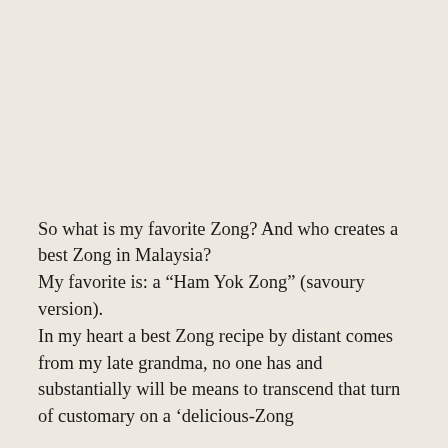So what is my favorite Zong? And who creates a best Zong in Malaysia?
My favorite is: a “Ham Yok Zong” (savoury version).
In my heart a best Zong recipe by distant comes from my late grandma, no one has and substantially will be means to transcend that turn of customary on a ‘delicious-Zong